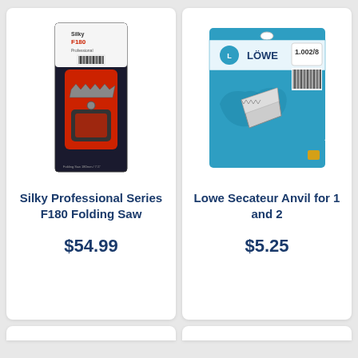[Figure (photo): Silky Professional Series F180 Folding Saw product in retail packaging, red and black folding saw]
Silky Professional Series F180 Folding Saw
$54.99
[Figure (photo): Lowe Secateur Anvil for 1 and 2 product in blue retail blister packaging]
Lowe Secateur Anvil for 1 and 2
$5.25